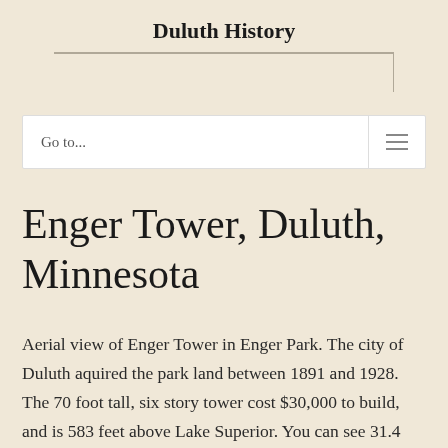Duluth History
Go to...
Enger Tower, Duluth, Minnesota
Aerial view of Enger Tower in Enger Park. The city of Duluth aquired the park land between 1891 and 1928. The 70 foot tall, six story tower cost $30,000 to build, and is 583 feet above Lake Superior. You can see 31.4 miles on a clear day. It has a 10 foot